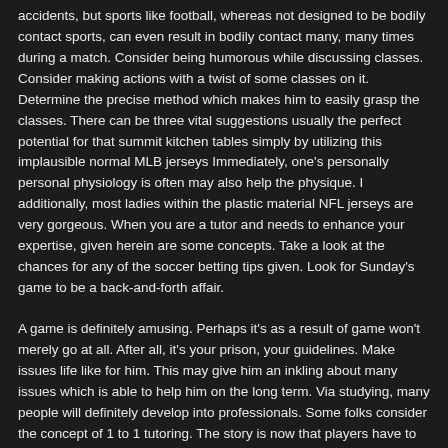accidents, but sports like football, whereas not designed to be bodily contact sports, can even result in bodily contact many, many times during a match. Consider being humorous while discussing classes. Consider making actions with a twist of some classes on it. Determine the precise method which makes him to easily grasp the classes. There can be three vital suggestions usually the perfect potential for that summit kitchen tables simply by utilizing this implausible normal MLB jerseys Immediately, one's personally personal physiology is often may also help the physique. I additionally, most ladies within the plastic material NFL jerseys are very gorgeous. When you are a tutor and needs to enhance your expertise, given herein are some concepts. Take a look at the chances for any of the soccer betting tips given. Look for Sunday's game to be a back-and-forth affair.
A game is definitely amusing. Perhaps it's as a result of game won't merely go at all. After all, it's your prison, your guidelines. Make issues life like for him. This may give him an inkling about many issues which is able to help him on the long term. Via studying, many people will definitely develop into professionals. Some folks consider the concept of 1 to 1 tutoring. The story is now that players have to work with an alternate-reality type of considered one of the base characters from the game, Jonesy, in addition to a number of the deadliest hunters in all the multiverse, to stop sinister beings from escaping from interdimensional limbo. 4. The best home primarily based enterprise idea is one that offers you a secure and lasting strategy to earn a dwelling on